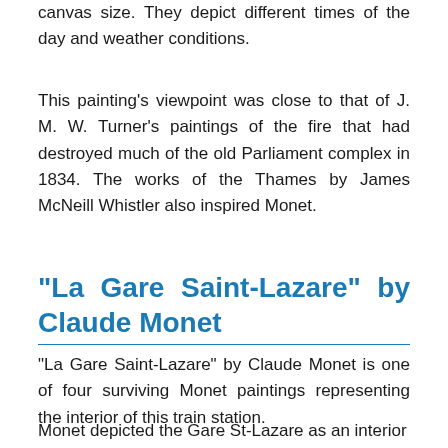canvas size. They depict different times of the day and weather conditions.
This painting’s viewpoint was close to that of J. M. W. Turner’s paintings of the fire that had destroyed much of the old Parliament complex in 1834. The works of the Thames by James McNeill Whistler also inspired Monet.
“La Gare Saint-Lazare” by Claude Monet
“La Gare Saint-Lazare” by Claude Monet is one of four surviving Monet paintings representing the interior of this train station.
Monet depicted the Gare St-Lazare as an interior